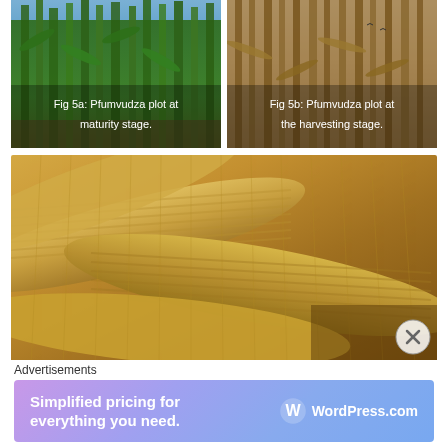[Figure (photo): Pfumvudza maize plot at maturity stage showing tall green corn stalks with caption overlay]
Fig 5a: Pfumvudza plot at maturity stage.
[Figure (photo): Pfumvudza maize plot at the harvesting stage showing dried brown corn stalks with caption overlay]
Fig 5b: Pfumvudza plot at the harvesting stage.
[Figure (photo): Close-up photo of harvested maize cobs piled together showing yellow/cream colored corn kernels]
Advertisements
[Figure (screenshot): WordPress.com advertisement banner: Simplified pricing for everything you need. WordPress.com]